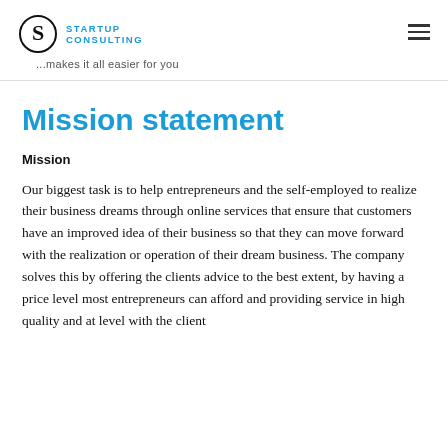STARTUP CONSULTING ...makes it all easier for you
Mission statement
Mission
Our biggest task is to help entrepreneurs and the self-employed to realize their business dreams through online services that ensure that customers have an improved idea of their business so that they can move forward with the realization or operation of their dream business. The company solves this by offering the clients advice to the best extent, by having a price level most entrepreneurs can afford and providing service in high quality and at level with the client